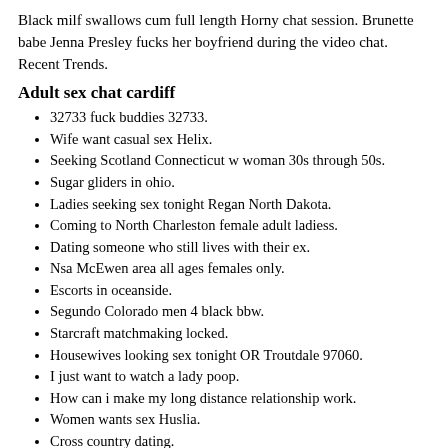Black milf swallows cum full length Horny chat session. Brunette babe Jenna Presley fucks her boyfriend during the video chat. Recent Trends.
Adult sex chat cardiff
32733 fuck buddies 32733.
Wife want casual sex Helix.
Seeking Scotland Connecticut w woman 30s through 50s.
Sugar gliders in ohio.
Ladies seeking sex tonight Regan North Dakota.
Coming to North Charleston female adult ladiess.
Dating someone who still lives with their ex.
Nsa McEwen area all ages females only.
Escorts in oceanside.
Segundo Colorado men 4 black bbw.
Starcraft matchmaking locked.
Housewives looking sex tonight OR Troutdale 97060.
I just want to watch a lady poop.
How can i make my long distance relationship work.
Women wants sex Huslia.
Cross country dating.
Homely women sex.
email: nxaopepcac@gmail.com - phone:(519) 307-2772 x 6336